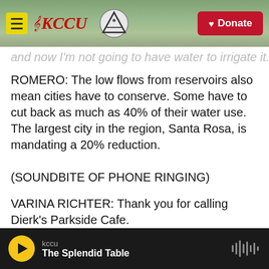KCCU | Donate
and now I'm not going to have water to irrigate it.
ROMERO: The low flows from reservoirs also mean cities have to conserve. Some have to cut back as much as 40% of their water use. The largest city in the region, Santa Rosa, is mandating a 20% reduction.
(SOUNDBITE OF PHONE RINGING)
VARINA RICHTER: Thank you for calling Dierk's Parkside Cafe.
ROMERO: Varina Richter is a server at Dierk's
kccu — The Splendid Table